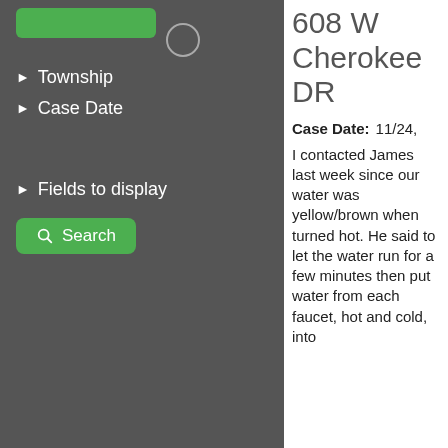[Figure (screenshot): Green button bar at top of left panel]
Township
Case Date
Fields to display
[Figure (screenshot): Green Search button with magnifying glass icon]
608 W Cherokee DR
Case Date: 11/24,
I contacted James last week since our water was yellow/brown when turned hot. He said to let the water run for a few minutes then put water from each faucet, hot and cold, into